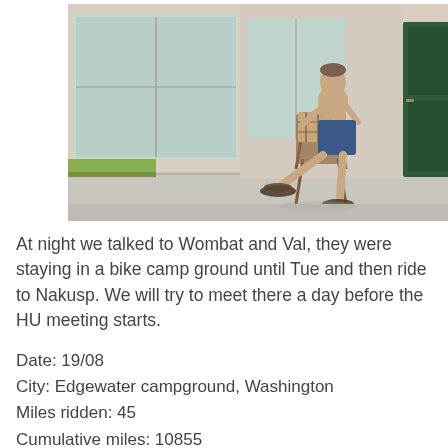[Figure (photo): A man sitting in a wooden chair outside a motel room numbered 186, wearing shorts and sandals with blue shorts. Green grass is visible on the left, and a green door with a fire extinguisher box is to the right.]
At night we talked to Wombat and Val, they were staying in a bike camp ground until Tue and then ride to Nakusp. We will try to meet there a day before the HU meeting starts.
Date: 19/08
City: Edgewater campground, Washington
Miles ridden: 45
Cumulative miles: 10855